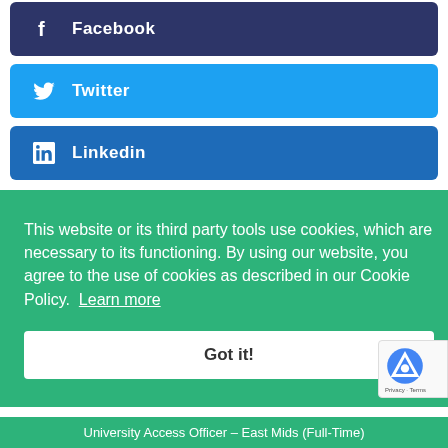[Figure (other): Facebook social share button with white 'f' icon on dark navy background]
[Figure (other): Twitter social share button with white bird icon on light blue background]
[Figure (other): LinkedIn social share button with white 'in' icon on medium blue background]
This website or its third party tools use cookies, which are necessary to its functioning. By using our website, you agree to the use of cookies as described in our Cookie Policy. Learn more
Got it!
University Access Officer – East Mids (Full-Time)